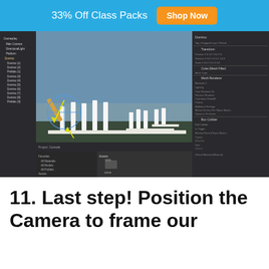33% Off Class Packs  Shop Now
[Figure (screenshot): Unity 3D editor screenshot showing domino scene with blue circle rotation handle and text 'Click and Drag Blue Circle to Rotate Domino']
11. Last step! Position the Camera to frame our Dominos!